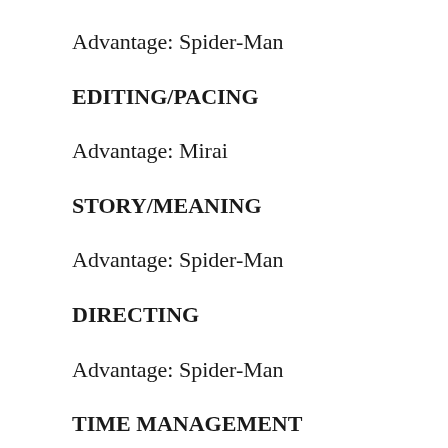Advantage:  Spider-Man
EDITING/PACING
Advantage:  Mirai
STORY/MEANING
Advantage:  Spider-Man
DIRECTING
Advantage:  Spider-Man
TIME MANAGEMENT